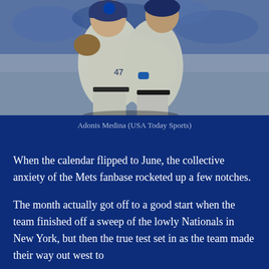[Figure (photo): Two New York Mets baseball players in gray away uniforms hugging/celebrating on the field, with a crowd of fans in blue in the background.]
Adonis Medina (USA Today Sports)
When the calendar flipped to June, the collective anxiety of the Mets fanbase rocketed up a few notches.
The month actually got off to a good start when the team finished off a sweep of the lowly Nationals in New York, but then the true test set in as the team made their way out west to